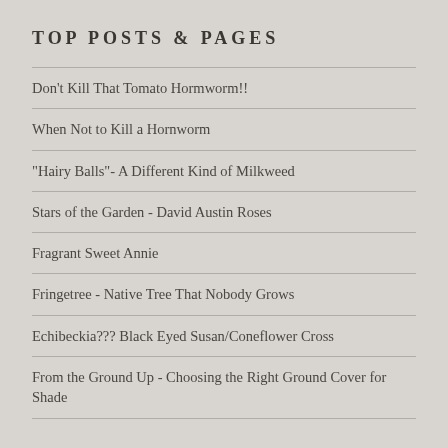TOP POSTS & PAGES
Don't Kill That Tomato Hormworm!!
When Not to Kill a Hornworm
"Hairy Balls"- A Different Kind of Milkweed
Stars of the Garden - David Austin Roses
Fragrant Sweet Annie
Fringetree - Native Tree That Nobody Grows
Echibeckia??? Black Eyed Susan/Coneflower Cross
From the Ground Up - Choosing the Right Ground Cover for Shade